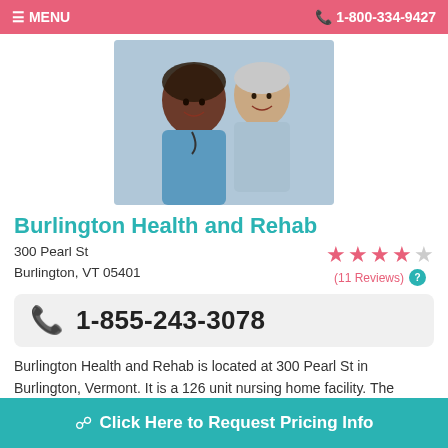MENU  1-800-334-9427
[Figure (photo): Two women smiling — a nurse in blue scrubs and an elderly patient]
Burlington Health and Rehab
300 Pearl St
Burlington, VT 05401
(11 Reviews)
1-855-243-3078
Burlington Health and Rehab is located at 300 Pearl St in Burlington, Vermont. It is a 126 unit nursing home facility. The community is in a largely middle class area, with a m
Click Here to Request Pricing Info